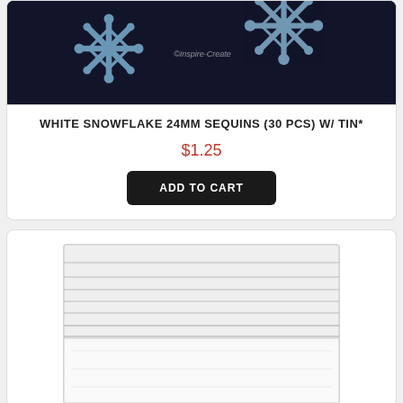[Figure (photo): Product image showing blue snowflake sequins on a dark navy/black background with ©Inspire-Create watermark]
WHITE SNOWFLAKE 24MM SEQUINS (30 PCS) W/ TIN*
$1.25
ADD TO CART
[Figure (photo): Product image showing a clear zip-lock bag on a light gray background]